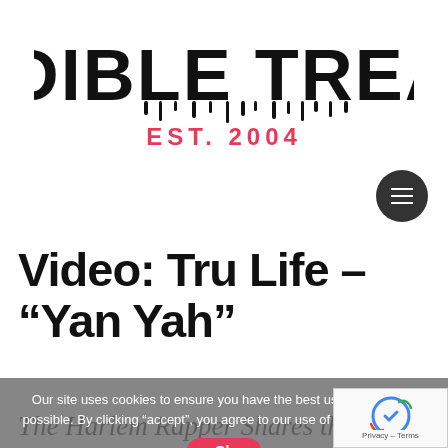[Figure (logo): Audible Treats logo with dripping black lettering and 'EST. 2004' in red/pink below]
Video: Tru Life – “Yan Yah”
The Harlem Rapper Shares the Latest Video from Walking On Water, His First Full-Length Project in More Than a Decade
Our site uses cookies to ensure you have the best user experience possible. By clicking “accept”, you agree to our use of cookies. Peace!